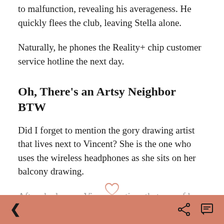to malfunction, revealing his averageness. He quickly flees the club, leaving Stella alone.
Naturally, he phones the Reality+ chip customer service hotline the next day.
Oh, There's an Artsy Neighbor BTW
Did I forget to mention the gory drawing artist that lives next to Vincent? She is the one who uses the wireless headphones as she sits on her balcony drawing.
After she leaves, Vincent notices that one of her drawings fell into the gutter. He picks it up, chuckling at the gory drawing, and places it back on her balcony.
The next day, Vincent w... to the coffee shop to see...
< [heart] [share] [comment]